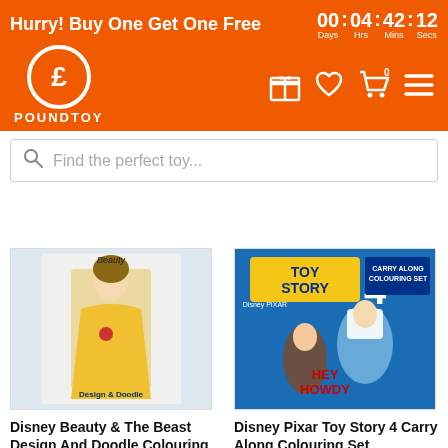Hurry! Buy One Get One Free
00 : 04 : 42 : 12 Days Hrs Mins Secs
[Figure (logo): Poundtoy logo: white circle with pound sign, text POUNDTOY below]
[Figure (screenshot): Navigation icons: gift box, heart/wishlist, cart with 0, hamburger menu]
Find the perfect toy...
[Figure (photo): Disney Beauty & The Beast Design and Doodle book cover showing Belle in yellow dress]
[Figure (photo): Disney Pixar Toy Story 4 Carry Along Colouring Set cover showing Buzz Lightyear and Woody]
Disney Beauty & The Beast Design And Doodle Colouring Book
Disney Pixar Toy Story 4 Carry Along Colouring Set
$3.00
$3.00